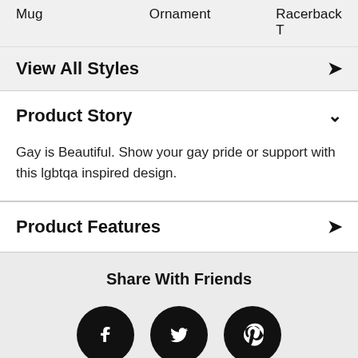Mug    Ornament    Racerback T
View All Styles ▶
Product Story ▾
Gay is Beautiful. Show your gay pride or support with this lgbtqa inspired design.
Product Features ▶
Share With Friends
[Figure (illustration): Three social media share buttons: Facebook (f), Twitter (bird), Pinterest (p) — white icons on black circles]